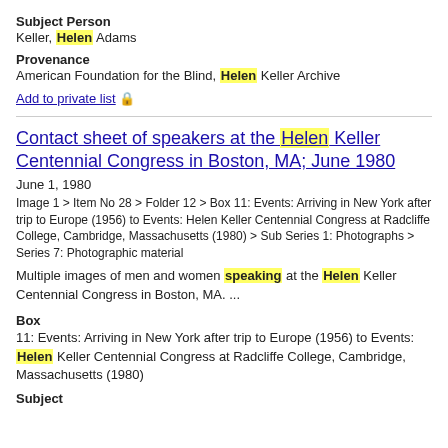Subject Person
Keller, Helen Adams
Provenance
American Foundation for the Blind, Helen Keller Archive
Add to private list 🔒
Contact sheet of speakers at the Helen Keller Centennial Congress in Boston, MA; June 1980
June 1, 1980
Image 1 > Item No 28 > Folder 12 > Box 11: Events: Arriving in New York after trip to Europe (1956) to Events: Helen Keller Centennial Congress at Radcliffe College, Cambridge, Massachusetts (1980) > Sub Series 1: Photographs > Series 7: Photographic material
Multiple images of men and women speaking at the Helen Keller Centennial Congress in Boston, MA. ...
Box
11: Events: Arriving in New York after trip to Europe (1956) to Events: Helen Keller Centennial Congress at Radcliffe College, Cambridge, Massachusetts (1980)
Subject